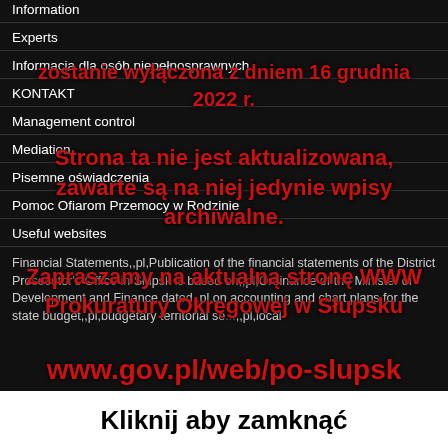Information
Experts
Informacja dla osób niepełnosprawnych
KONTAKT
Management control
Mediation
Pisemne oświadczenia
Pomoc Ofiarom Przemocy w Rodzinie
Useful websites
Financial Statements,,pl,Publication of the financial statements of the District Prosecutor's Office in Słupsk is based on,,pl,Ordinance of the Minister of Development and Finance dated,,pl,on accounting and chart plans for the state budget,,pl,budgetary territorial se... ,,pl,local
[Figure (screenshot): Red overlay modal dialog in Polish warning that the website will be disabled on December 16, 2022, that the page is not updated, archived entries only, and inviting to the new website www.gov.pl/web/po-slupsk. Text includes: 'zostanie wyłączona z dniem 16 grudnia 2022 r.', 'Strona ta nie jest aktualizowana,', 'zawarte są na niej jedynie wpisy archiwalne.', 'Zapraszamy na aktualną stronę WWW', 'Prokuratury Okręgowej w Słupsku', 'www.gov.pl/web/po-slupsk']
Kliknij aby zamknąć